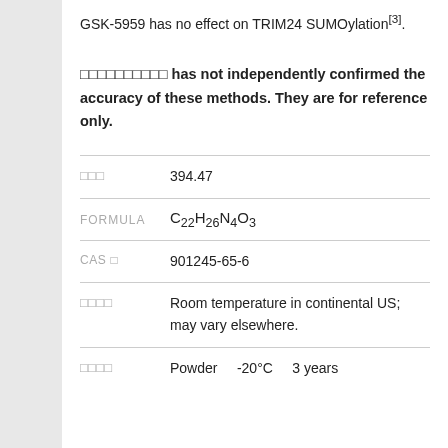GSK-5959 has no effect on TRIM24 SUMOylation[3].
□□□□□□□□□□ has not independently confirmed the accuracy of these methods. They are for reference only.
394.47
C22H26N4O3
901245-65-6
Room temperature in continental US; may vary elsewhere.
Powder   -20°C   3 years